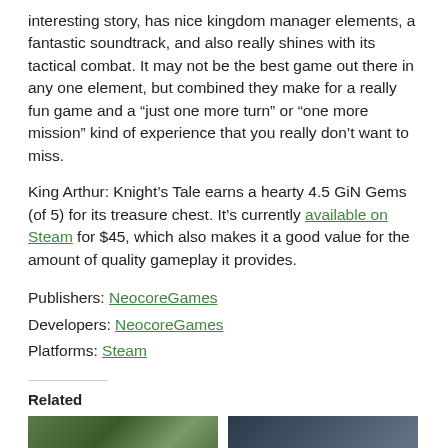interesting story, has nice kingdom manager elements, a fantastic soundtrack, and also really shines with its tactical combat. It may not be the best game out there in any one element, but combined they make for a really fun game and a “just one more turn” or “one more mission” kind of experience that you really don’t want to miss.
King Arthur: Knight’s Tale earns a hearty 4.5 GiN Gems (of 5) for its treasure chest. It’s currently available on Steam for $45, which also makes it a good value for the amount of quality gameplay it provides.
Publishers: NeocoreGames
Developers: NeocoreGames
Platforms: Steam
Related
[Figure (photo): Thumbnail image on the left, outdoor scene with greenery]
[Figure (photo): Thumbnail image on the right, darker scene]